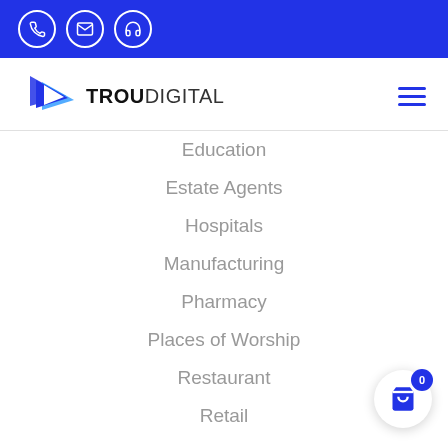Top bar with phone, email, and support icons
[Figure (logo): TrouDigital logo with blue play button icon and hamburger menu]
Education
Estate Agents
Hospitals
Manufacturing
Pharmacy
Places of Worship
Restaurant
Retail